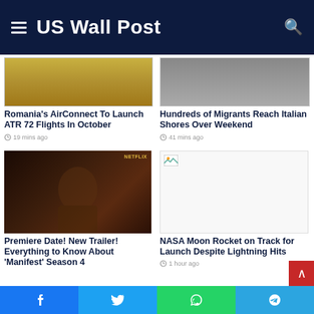US Wall Post
[Figure (photo): Partial view of an airplane interior/exterior with gold/yellow tones]
Romania’s AirConnect To Launch ATR 72 Flights In October
19 mins ago
[Figure (photo): Partially visible image, migrants story thumbnail]
Hundreds of Migrants Reach Italian Shores Over Weekend
41 mins ago
[Figure (photo): Netflix promotional image showing a man, from Manifest Season 4]
Premiere Date! New Trailer! Everything to Know About ‘Manifest’ Season 4
[Figure (photo): Placeholder broken image for NASA Moon Rocket article]
NASA Moon Rocket on Track for Launch Despite Lightning Hits
1 hour ago